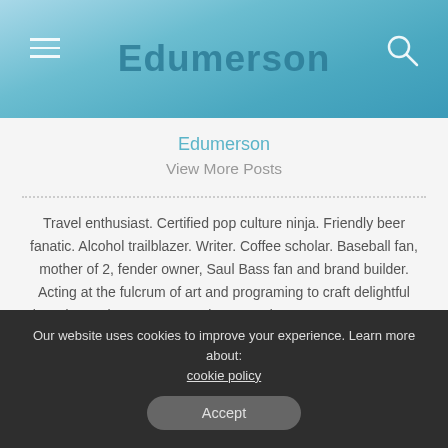Edumerson
Edumerson
View More Posts
Travel enthusiast. Certified pop culture ninja. Friendly beer fanatic. Alcohol trailblazer. Writer. Coffee scholar. Baseball fan, mother of 2, fender owner, Saul Bass fan and brand builder. Acting at the fulcrum of art and programing to craft delightful brand experiences. Let's make every day A RAZZLE-DAZZLE MUSICAL.
Our website uses cookies to improve your experience. Learn more about: cookie policy
Accept